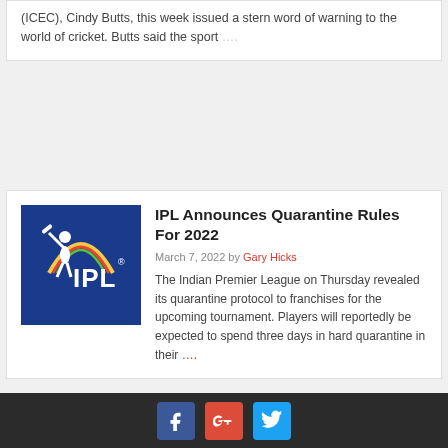(ICEC), Cindy Butts, this week issued a stern word of warning to the world of cricket. Butts said the sport ….
IPL Announces Quarantine Rules For 2022
March 7, 2022 by Gary Hicks
[Figure (logo): IPL (Indian Premier League) logo — white cricketer silhouette and IPL text on dark blue background with rainbow arc]
The Indian Premier League on Thursday revealed its quarantine protocol to franchises for the upcoming tournament. Players will reportedly be expected to spend three days in hard quarantine in their ….
Social media icons: Facebook, Google+, Twitter